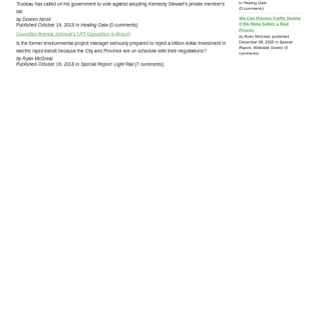Trudeau has called on his government to vote against adopting Kennedy Stewart's private member's bill.
by Doreen Nicoll
Published October 19, 2016 in Healing Gaia (0 comments)
Councillor Brenda Johnson's LRT Opposition is Absurd
Is the former environmental project manager seriously prepared to reject a billion-dollar investment in electric rapid transit because the City and Province are on schedule with their negotiations?
by Ryan McGreal
Published October 19, 2016 in Special Report: Light Rail (7 comments)
Healing Gaia (0 comments)
We Can Prevent Traffic Deaths if We Make Safety a Real Priority
by Ryan McGreal, published December 08, 2020 in Special Report: Walkable Streets (5 comments)